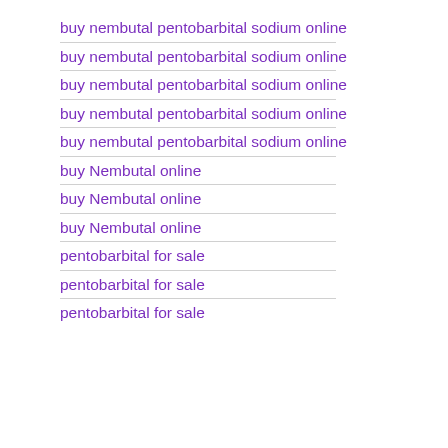buy nembutal pentobarbital sodium online
buy nembutal pentobarbital sodium online
buy nembutal pentobarbital sodium online
buy nembutal pentobarbital sodium online
buy nembutal pentobarbital sodium online
buy Nembutal online
buy Nembutal online
buy Nembutal online
pentobarbital for sale
pentobarbital for sale
pentobarbital for sale